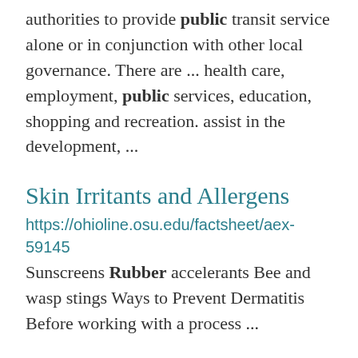authorities to provide public transit service alone or in conjunction with other local governance. There are ... health care, employment, public services, education, shopping and recreation. assist in the development, ...
Skin Irritants and Allergens
https://ohioline.osu.edu/factsheet/aex-59145
Sunscreens Rubber accelerants Bee and wasp stings Ways to Prevent Dermatitis Before working with a process ...
ADHD Medications and Your